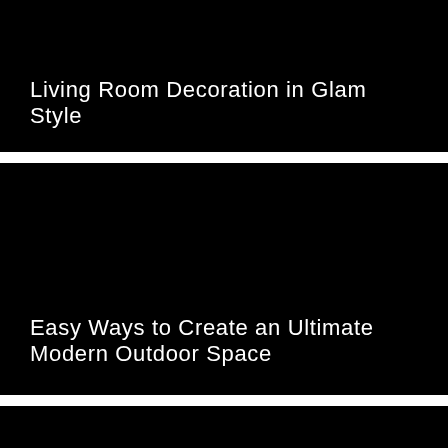[Figure (photo): Dark black rectangular image card representing a living room decoration article thumbnail]
Living Room Decoration in Glam Style
[Figure (photo): Dark black rectangular image card representing a modern outdoor space article thumbnail]
Easy Ways to Create an Ultimate Modern Outdoor Space
[Figure (other): Bottom black bar with a red close button]